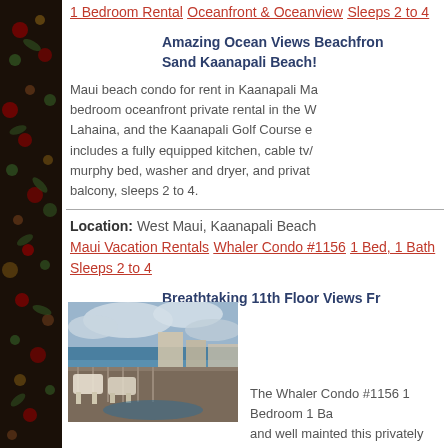1 Bedroom Rental
Oceanfront & Oceanview
Sleeps 2 to 4
Amazing Ocean Views Beachfront Sand Kaanapali Beach!
Maui beach condo for rent in Kaanapali Ma... bedroom oceanfront private rental in the W... Lahaina, and the Kaanapali Golf Course e... includes a fully equipped kitchen, cable tv/... murphy bed, washer and dryer, and privat... balcony, sleeps 2 to 4.
Location: West Maui, Kaanapali Beach
Maui Vacation Rentals
Whaler Condo #1156
1 Bed, 1 Bath
Sleeps 2 to 4
Breathtaking 11th Floor Views Fr... Vantage!
[Figure (photo): Balcony view from a high-floor condo overlooking Kaanapali Beach and the Pacific Ocean, with outdoor chairs visible in foreground]
The Whaler Condo #1156 1 Bedroom 1 Ba... and well mainted this privately owned bea... situated right on the Pacific shore of Maui'... Beach. Filled with light and forever vistas f... condo is just a few minutes from Lahaina c...